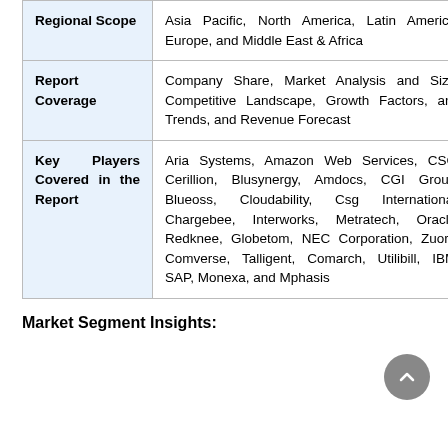|  |  |
| --- | --- |
| Regional Scope | Asia Pacific, North America, Latin America, Europe, and Middle East & Africa |
| Report Coverage | Company Share, Market Analysis and Size, Competitive Landscape, Growth Factors, and Trends, and Revenue Forecast |
| Key Players Covered in the Report | Aria Systems, Amazon Web Services, CSC, Cerillion, Blusynergy, Amdocs, CGI Group, Blueoss, Cloudability, Csg International, Chargebee, Interworks, Metratech, Oracle, Redknee, Globetom, NEC Corporation, Zuora, Comverse, Talligent, Comarch, Utilibill, IBM, SAP, Monexa, and Mphasis |
Market Segment Insights: